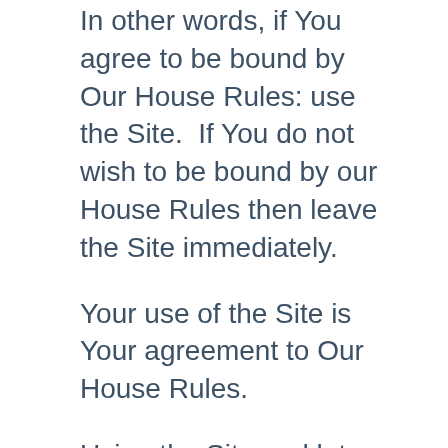In other words, if You agree to be bound by Our House Rules: use the Site.  If You do not wish to be bound by our House Rules then leave the Site immediately.
Your use of the Site is Your agreement to Our House Rules.
Using the Site and later claiming to disagree with Our House Rules will simply not fly and is a poor attempt to justify underhand behaviour.
Please let us know if we can improve things...
We have made every effort to design the